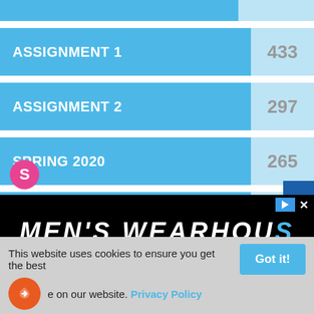[Figure (bar-chart): Assignment/Tag Views]
Live Chat
S
MEN'S WEARHOUSE
This website uses cookies to ensure you get the best experience on our website. Privacy Policy
New Lower Prices
Got it!